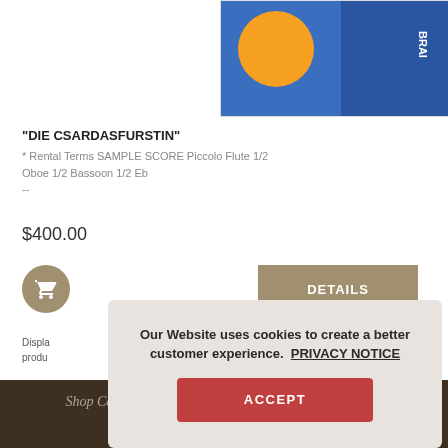[Figure (photo): Product image showing an orange circle logo on a blue background with 'BRA' text, partially visible at top of page]
"DIE CSARDASFURSTIN"
* Rental Terms SAMPLE SCORE Piccolo Flute 1/2 Oboe 1/2 Bassoon 1/2 Eb --
$400.00
Displaying products of shown products
Our Website uses cookies to create a better customer experience. PRIVACY NOTICE
ACCEPT
Shop Categories   About BMI